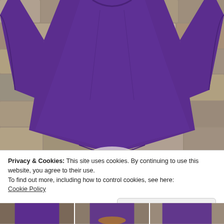[Figure (photo): Purple knit sweater displayed on a mannequin/model against a stone wall background. The sweater has long sleeves and a relaxed fit. The view shows the back/front torso and arms.]
Privacy & Cookies: This site uses cookies. By continuing to use this website, you agree to their use.
To find out more, including how to control cookies, see here:
Cookie Policy
Close and accept
[Figure (photo): Row of three small thumbnail images at the bottom of the page, showing partial views of the same purple sweater product.]